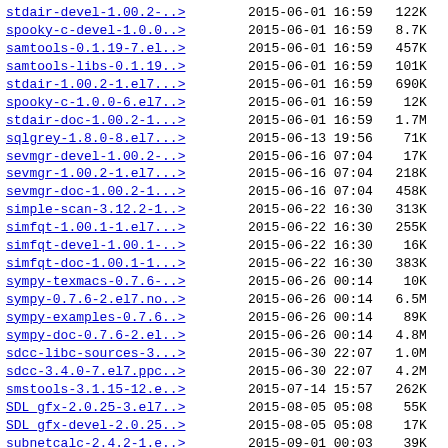| Name | Date | Time | Size |
| --- | --- | --- | --- |
| stdair-devel-1.00.2-..> | 2015-06-01 | 16:59 | 122K |
| spooky-c-devel-1.0.0..> | 2015-06-01 | 16:59 | 8.7K |
| samtools-0.1.19-7.el..> | 2015-06-01 | 16:59 | 457K |
| samtools-libs-0.1.19..> | 2015-06-01 | 16:59 | 101K |
| stdair-1.00.2-1.el7...> | 2015-06-01 | 16:59 | 690K |
| spooky-c-1.0.0-6.el7..> | 2015-06-01 | 16:59 | 12K |
| stdair-doc-1.00.2-1...> | 2015-06-01 | 16:59 | 1.7M |
| sqlgrey-1.8.0-8.el7...> | 2015-06-13 | 19:56 | 71K |
| sevmgr-devel-1.00.2-..> | 2015-06-16 | 07:04 | 17K |
| sevmgr-1.00.2-1.el7...> | 2015-06-16 | 07:04 | 218K |
| sevmgr-doc-1.00.2-1...> | 2015-06-16 | 07:04 | 458K |
| simple-scan-3.12.2-1..> | 2015-06-22 | 16:30 | 313K |
| simfqt-1.00.1-1.el7...> | 2015-06-22 | 16:30 | 255K |
| simfqt-devel-1.00.1-..> | 2015-06-22 | 16:30 | 16K |
| simfqt-doc-1.00.1-1...> | 2015-06-22 | 16:30 | 383K |
| sympy-texmacs-0.7.6-..> | 2015-06-26 | 00:14 | 10K |
| sympy-0.7.6-2.el7.no..> | 2015-06-26 | 00:14 | 6.5M |
| sympy-examples-0.7.6..> | 2015-06-26 | 00:14 | 89K |
| sympy-doc-0.7.6-2.el..> | 2015-06-26 | 00:14 | 4.8M |
| sdcc-libc-sources-3...> | 2015-06-30 | 22:07 | 1.0M |
| sdcc-3.4.0-7.el7.ppc..> | 2015-06-30 | 22:07 | 4.2M |
| smstools-3.1.15-12.e..> | 2015-07-14 | 15:57 | 262K |
| SDL_gfx-2.0.25-3.el7..> | 2015-08-05 | 05:08 | 55K |
| SDL_gfx-devel-2.0.25..> | 2015-08-05 | 05:08 | 17K |
| subnetcalc-2.4.2-1.e..> | 2015-09-01 | 00:03 | 39K |
| smaclient-1.1-4.el7...> | 2015-09-03 | 04:06 | 44K |
| soxr-0.1.2-1.el7.ppc..> | 2015-09-09 | 19:16 | 74K |
| soxr-devel-0.1.2-1.e..> | 2015-09-09 | 19:16 | 18K |
| sicktoolbox-devel-1...> | 2015-09-19 | 05:37 | 31K |
| sicktoolbox-doc-1.0...> | 2015-09-19 | 05:37 | 885K |